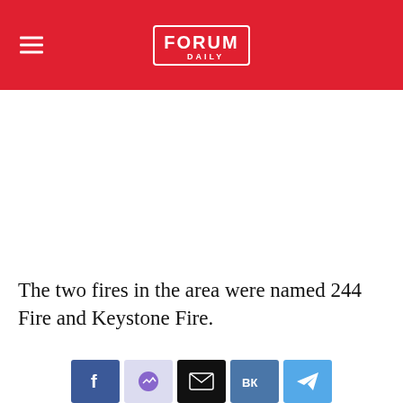FORUM DAILY
The two fires in the area were named 244 Fire and Keystone Fire.
This website uses cookies.
[Figure (other): Social share buttons: Facebook, Messenger, Email, VK, Telegram]